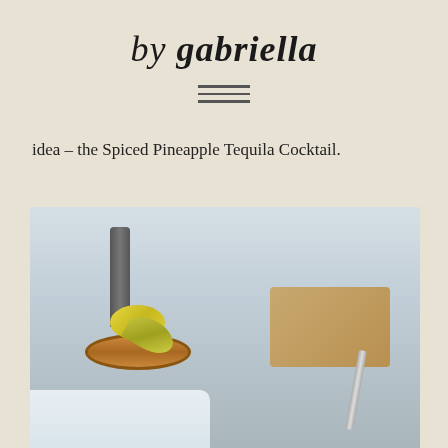by gabriella
idea – the Spiced Pineapple Tequila Cocktail.
[Figure (photo): Photo of a Spiced Pineapple Tequila Cocktail in a glass with a salted rim, garnished with a lime slice and pineapple, on a light blue/grey background with cocktail-making tools in the background.]